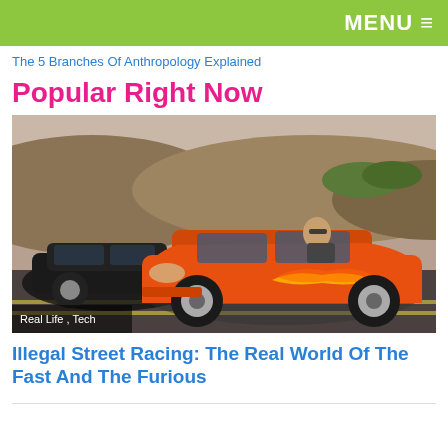MENU ≡
The 5 Branches Of Anthropology Explained
Popular Right Now
[Figure (photo): Orange sports car (Toyota Supra) racing on a road alongside a black car, with hills in the background. Tag overlay reads: Real Life , Tech]
Illegal Street Racing: The Real World Of The Fast And The Furious